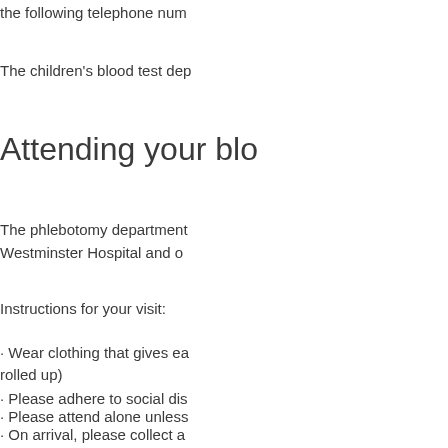the following telephone num
The children's blood test dep
Attending your blo
The phlebotomy department Westminster Hospital and o
Instructions for your visit:
• Wear clothing that gives ea rolled up)
• Please adhere to social dis
• Please attend alone unless
• On arrival, please collect a
The majority of blood tests o doctor has requested a spe